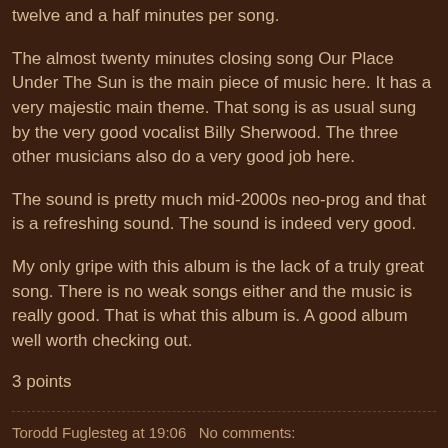twelve and a half minutes per song.
The almost twenty minutes closing song Our Place Under The Sun is the main piece of music here. It has a very majestic main theme. That song is as usual sung by the very good vocalist Billy Sherwood. The three other musicians also do a very good job here.
The sound is pretty much mid-2000s neo-prog and that is a refreshing sound. The sound is indeed very good.
My only gripe with this album is the lack of a truly great song. There is no weak songs either and the music is really good. That is what this album is. A good album well worth checking out.
3 points
Torodd Fuglesteg at 19:06   No comments: